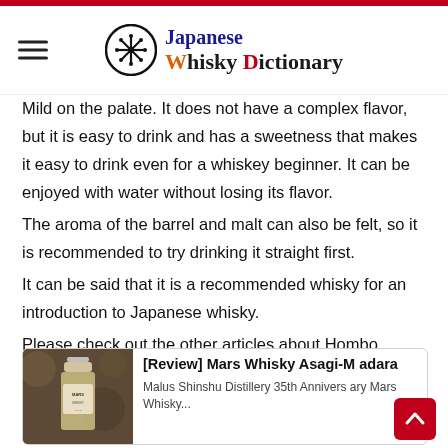Japanese Whisky Dictionary
Mild on the palate. It does not have a complex flavor, but it is easy to drink and has a sweetness that makes it easy to drink even for a whiskey beginner. It can be enjoyed with water without losing its flavor.
The aroma of the barrel and malt can also be felt, so it is recommended to try drinking it straight first.
It can be said that it is a recommended whisky for an introduction to Japanese whisky.
Please check out the other articles about Hombo Shuzo.
[Figure (photo): Card showing a bottle of Mars Whisky Asagi-Madara with text: [Review] Mars Whisky Asagi-Madara, Malus Shinshu Distillery 35th Anniversary Mars Whisky...]